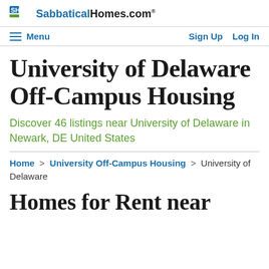SabbaticalHomes.com
Menu  Sign Up  Log In
University of Delaware Off-Campus Housing
Discover 46 listings near University of Delaware in Newark, DE United States
Home > University Off-Campus Housing > University of Delaware
Homes for Rent near